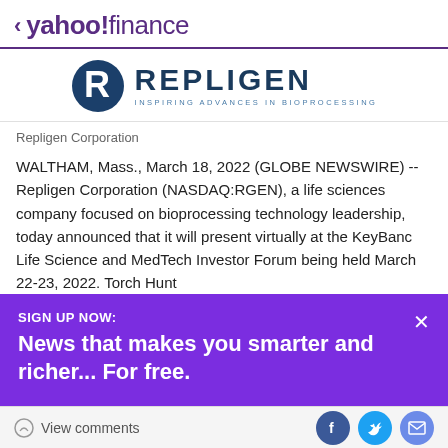< yahoo!finance
[Figure (logo): Repligen Corporation logo with R symbol and tagline INSPIRING ADVANCES IN BIOPROCESSING]
Repligen Corporation
WALTHAM, Mass., March 18, 2022 (GLOBE NEWSWIRE) -- Repligen Corporation (NASDAQ:RGEN), a life sciences company focused on bioprocessing technology leadership, today announced that it will present virtually at the KeyBanc Life Science and MedTech Investor Forum being held March 22-23, 2022. Torch Hunt
[Figure (screenshot): Purple overlay banner: SIGN UP NOW: News that makes you smarter and richer... For free. with X close button]
View comments | Facebook | Twitter | Email share icons